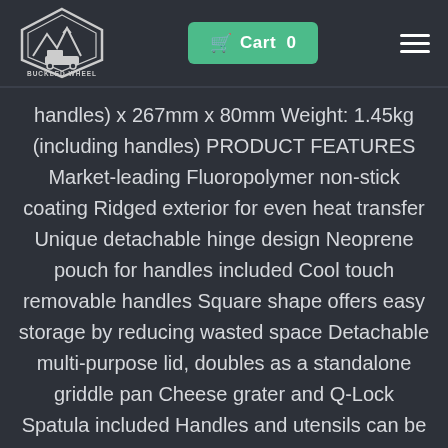[Figure (logo): Buckled Wheel logo — hexagonal badge with mountains, RV, and text 'BUCKLED WHEEL']
Cart 0
handles) x 267mm x 80mm Weight: 1.45kg (including handles) PRODUCT FEATURES Market-leading Fluoropolymer non-stick coating Ridged exterior for even heat transfer Unique detachable hinge design Neoprene pouch for handles included Cool touch removable handles Square shape offers easy storage by reducing wasted space Detachable multi-purpose lid, doubles as a standalone griddle pan Cheese grater and Q-Lock Spatula included Handles and utensils can be stored within the pan when not in use Can be used on all